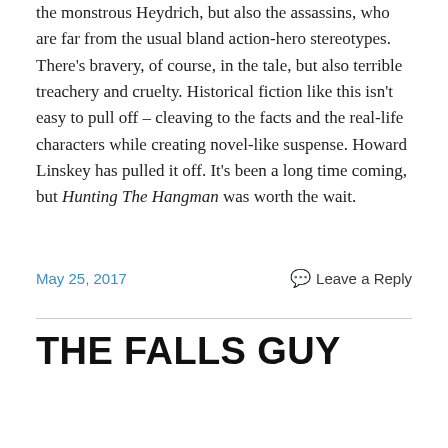the monstrous Heydrich, but also the assassins, who are far from the usual bland action-hero stereotypes. There's bravery, of course, in the tale, but also terrible treachery and cruelty. Historical fiction like this isn't easy to pull off – cleaving to the facts and the real-life characters while creating novel-like suspense. Howard Linskey has pulled it off. It's been a long time coming, but Hunting The Hangman was worth the wait.
May 25, 2017
Leave a Reply
THE FALLS GUY